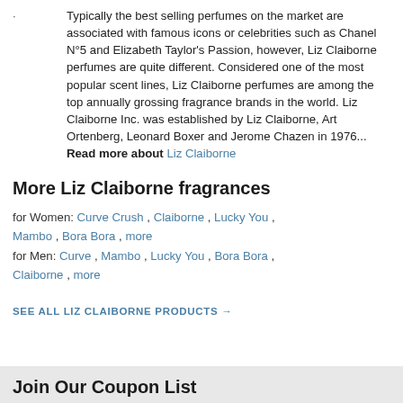Typically the best selling perfumes on the market are associated with famous icons or celebrities such as Chanel N°5 and Elizabeth Taylor's Passion, however, Liz Claiborne perfumes are quite different. Considered one of the most popular scent lines, Liz Claiborne perfumes are among the top annually grossing fragrance brands in the world. Liz Claiborne Inc. was established by Liz Claiborne, Art Ortenberg, Leonard Boxer and Jerome Chazen in 1976... Read more about Liz Claiborne
More Liz Claiborne fragrances
for Women: Curve Crush , Claiborne , Lucky You , Mambo , Bora Bora , more
for Men: Curve , Mambo , Lucky You , Bora Bora , Claiborne , more
SEE ALL LIZ CLAIBORNE PRODUCTS →
Join Our Coupon List